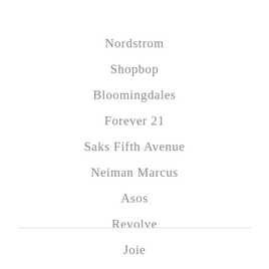Nordstrom
Shopbop
Bloomingdales
Forever 21
Saks Fifth Avenue
Neiman Marcus
Asos
Revolve
Joie
Intermix